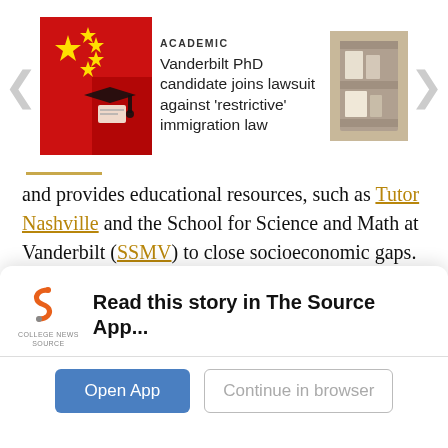[Figure (screenshot): Navigation card showing left arrow, Chinese flag thumbnail with graduation cap image, article metadata (ACADEMIC category, headline 'Vanderbilt PhD candidate joins lawsuit against restrictive immigration law'), and right-side photo thumbnail, with right arrow]
and provides educational resources, such as Tutor Nashville and the School for Science and Math at Vanderbilt (SSMV) to close socioeconomic gaps.
“The research-working groups will be consistently hearing from educators throughout the research process and students could also be included in that feedback cycle,” Cour said. “There is going to be a Community Advisory Panel (launching later next year) that will provide feedback to the
[Figure (screenshot): App install banner with College News Source logo, text 'Read this story in The Source App...', Open App button and Continue in browser button]